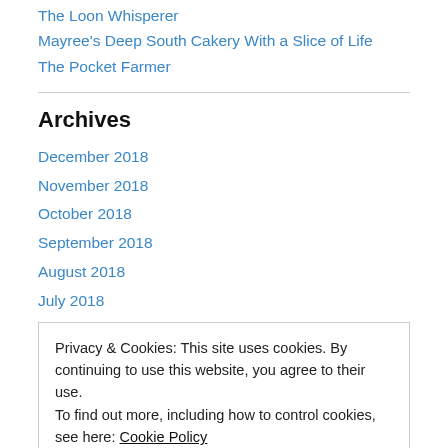The Loon Whisperer
Mayree's Deep South Cakery With a Slice of Life
The Pocket Farmer
Archives
December 2018
November 2018
October 2018
September 2018
August 2018
July 2018
Privacy & Cookies: This site uses cookies. By continuing to use this website, you agree to their use.
To find out more, including how to control cookies, see here: Cookie Policy
[Close and accept]
December 2017